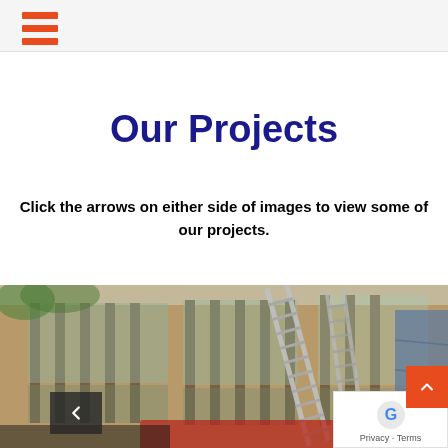Our Projects
Click the arrows on either side of images to view some of our projects.
[Figure (photo): Exterior of a house under renovation with a tall ladder leaning against the building, large windows visible, and blue tarps hanging on the right side. A red truck or equipment is partially visible at the bottom.]